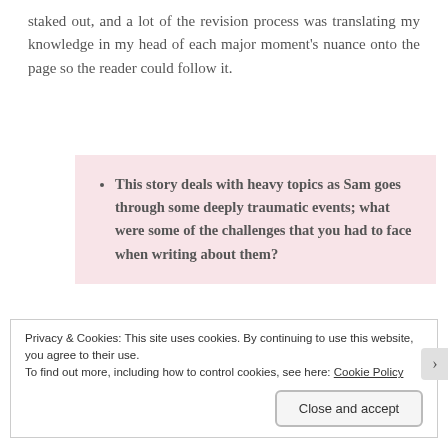staked out, and a lot of the revision process was translating my knowledge in my head of each major moment's nuance onto the page so the reader could follow it.
This story deals with heavy topics as Sam goes through some deeply traumatic events; what were some of the challenges that you had to face when writing about them?
Privacy & Cookies: This site uses cookies. By continuing to use this website, you agree to their use.
To find out more, including how to control cookies, see here: Cookie Policy
Close and accept